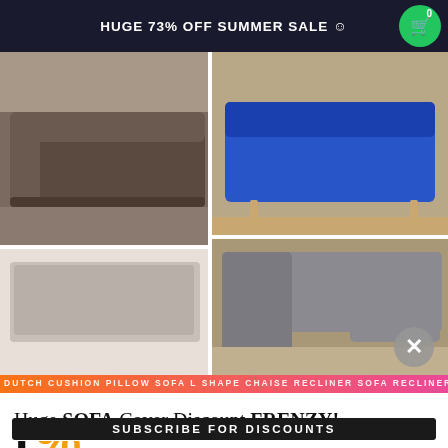HUGE 73% OFF SUMMER SALE 🙂
[Figure (photo): Collage of four sofa photos: top-left shows a dark brown/grey L-shaped sofa, bottom-left shows a white/light sofa close-up, top-right shows a blue sofa with wooden legs, bottom-right shows a grey L-shaped sectional sofa]
Huge SOFA Cover Discount FRENZY!
SUBSCRIBE FOR DISCOUNTS